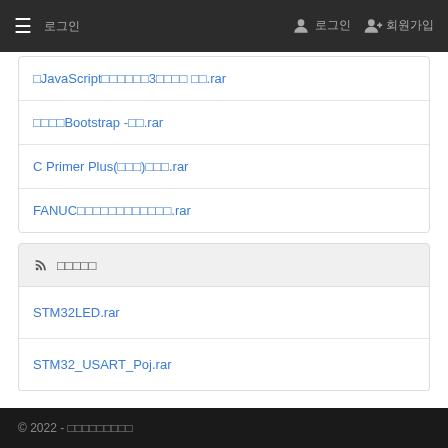≡  로그인  회원가입
🔲JavaScript🔲🔲🔲🔲🔲🔲3🔲🔲🔲🔲 🔲🔲.rar
🔲🔲🔲🔲Bootstrap -🔲🔲.rar
C Primer Plus(🔲🔲🔲)🔲🔲🔲.rar
FANUC🔲🔲🔲🔲🔲🔲🔲🔲🔲🔲🔲🔲.rar
🔲 🔲🔲🔲🔲🔲
STM32LED.rar
STM32_USART_Poj.rar
© 2022 - 🔲🔲🔲🔲🔲🔲🔲🔲🔲